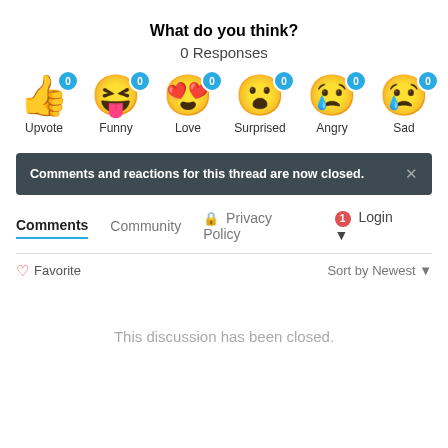What do you think?
0 Responses
[Figure (infographic): Six emoji reaction buttons each with a blue badge showing 0: Upvote (thumbs up), Funny (laughing face), Love (heart eyes), Surprised (wide-eyed face), Angry (crying/angry face), Sad (sad face with tear)]
Comments and reactions for this thread are now closed.
Comments  Community  🔒 Privacy Policy  1  Login ▾
♡ Favorite   Sort by Newest ▾
This discussion has been closed.